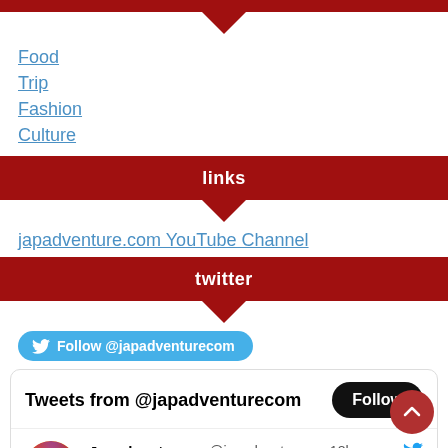Food
Trip
Fashion
Culture
links
japadventure.com YouTube Channel
twitter
Follow @japadventurecom
Tweets from @japadventurecom Follow
Japadventure.... @japadventure... · 18h  10 Best Brands of Japanese Sake and Sake Desserts!  japadventure.com/best-sake #japanesefood